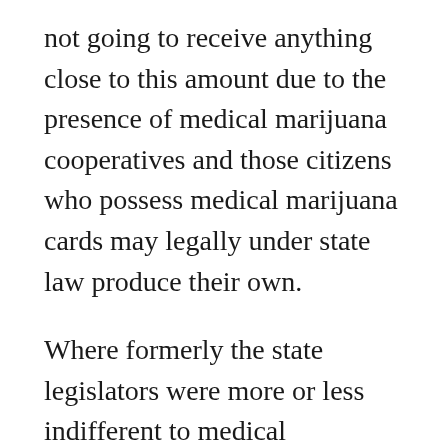not going to receive anything close to this amount due to the presence of medical marijuana cooperatives and those citizens who possess medical marijuana cards may legally under state law produce their own.
Where formerly the state legislators were more or less indifferent to medical marijuana, many of them are turning against it and this is mostly, if not entirely, driven by the thirst for tax revenue. There was recently an